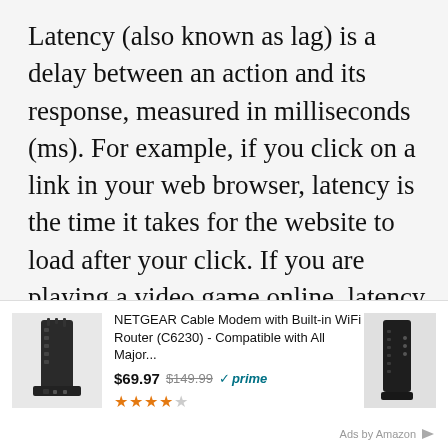Latency (also known as lag) is a delay between an action and its response, measured in milliseconds (ms). For example, if you click on a link in your web browser, latency is the time it takes for the website to load after your click. If you are playing a video game online, latency is what causes some players to appear frozen on your screen for a few seconds — that's because their movements or actions are taking longer to reach your computer than other players who may be physically closer to you.
[Figure (other): Amazon advertisement banner showing NETGEAR Cable Modem with Built-in WiFi Router (C6230). Price shown as $69.97 (was $149.99), with Amazon Prime badge and 4.5 star rating. Two product images of the modem shown on left and right sides.]